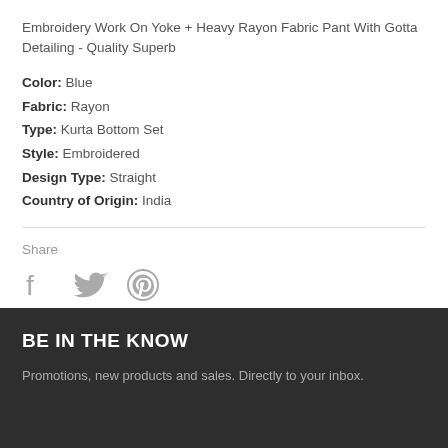Embroidery Work On Yoke + Heavy Rayon Fabric Pant With Gotta Detailing - Quality Superb
Color: Blue
Fabric: Rayon
Type: Kurta Bottom Set
Style: Embroidered
Design Type: Straight
Country of Origin: India
Share
[Figure (infographic): Social share icons: Facebook, Twitter, Pinterest in gray]
BE IN THE KNOW
Promotions, new products and sales. Directly to your inbox.